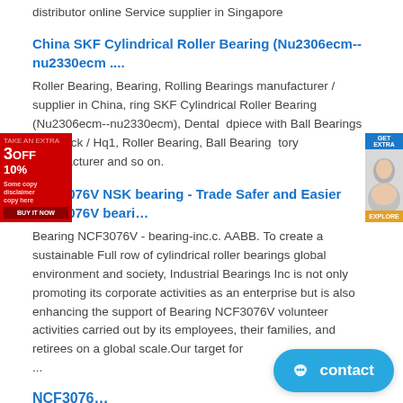distributor online Service supplier in Singapore
China SKF Cylindrical Roller Bearing (Nu2306ecm--nu2330ecm ....
Roller Bearing, Bearing, Rolling Bearings manufacturer / supplier in China, ring SKF Cylindrical Roller Bearing (Nu2306ecm--nu2330ecm), Dental dpiece with Ball Bearings S418mck / Hq1, Roller Bearing, Ball Bearing tory Manufacturer and so on.
NCF3076V NSK bearing - Trade Safer and Easier NCF3076V beari…
Bearing NCF3076V - bearing-inc.c. AABB. To create a sustainable Full row of cylindrical roller bearings global environment and society, Industrial Bearings Inc is not only promoting its corporate activities as an enterprise but is also enhancing the support of Bearing NCF3076V volunteer activities carried out by its employees, their families, and retirees on a global scale.Our target for ...
NCF3076…
We gebruiken onze eigen cookies en die van derden om uw ervaring en onze diensten te verbeteren, door te analyseren hoe er op on genavigeerd.
FULL ROW OF CYLINDRICAL ROLLER BEARIN